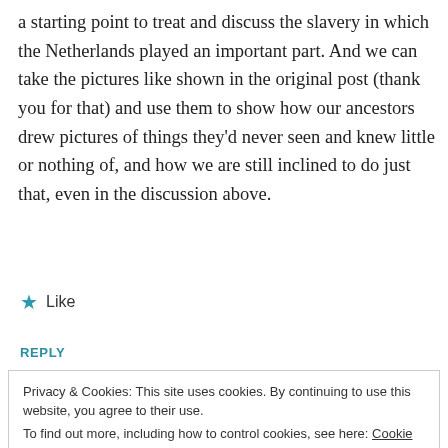a starting point to treat and discuss the slavery in which the Netherlands played an important part. And we can take the pictures like shown in the original post (thank you for that) and use them to show how our ancestors drew pictures of things they'd never seen and knew little or nothing of, and how we are still inclined to do just that, even in the discussion above.
★ Like
REPLY
Privacy & Cookies: This site uses cookies. By continuing to use this website, you agree to their use.
To find out more, including how to control cookies, see here: Cookie Policy
Close and accept
28/11/2011 AT 12:51